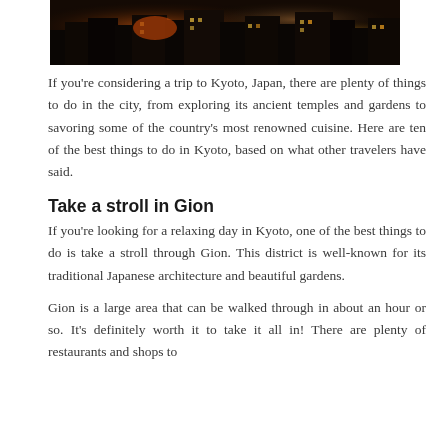[Figure (photo): Aerial night view of Kyoto city with illuminated buildings and orange-lit structures]
If you’re considering a trip to Kyoto, Japan, there are plenty of things to do in the city, from exploring its ancient temples and gardens to savoring some of the country’s most renowned cuisine. Here are ten of the best things to do in Kyoto, based on what other travelers have said.
Take a stroll in Gion
If you’re looking for a relaxing day in Kyoto, one of the best things to do is take a stroll through Gion. This district is well-known for its traditional Japanese architecture and beautiful gardens.
Gion is a large area that can be walked through in about an hour or so. It’s definitely worth it to take it all in! There are plenty of restaurants and shops to